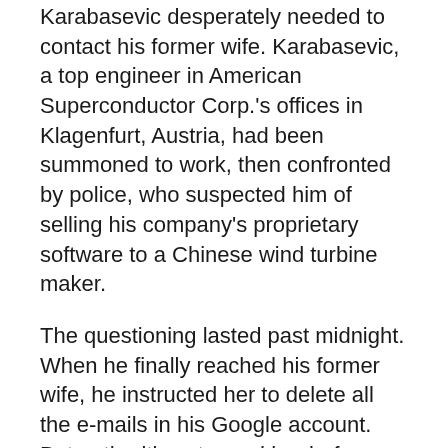Karabasevic desperately needed to contact his former wife. Karabasevic, a top engineer in American Superconductor Corp.'s offices in Klagenfurt, Austria, had been summoned to work, then confronted by police, who suspected him of selling his company's proprietary software to a Chinese wind turbine maker.
The questioning lasted past midnight. When he finally reached his former wife, he instructed her to delete all the e-mails in his Google account. But authorities stopped her before she could.
The e-mails proved the basis for Karabasevic's subsequent arrest and conviction in an Austrian court on charges of revealing trade secrets. His case marked what would be the opening round of a two-year fight by the Devens-based technology firm known as AMSC to defend